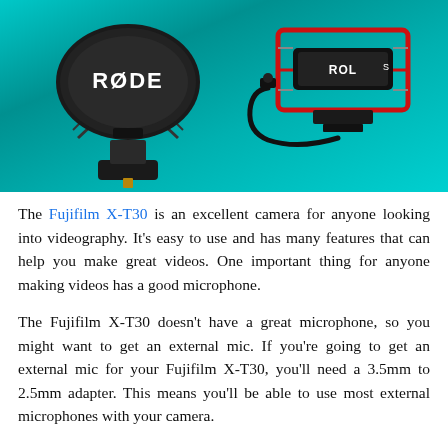[Figure (photo): Photo of two RØDE microphones on a teal/cyan gradient background. Left: a large RØDE VideoMicro or VideoMic Pro shotgun microphone with windscreen showing the RØDE logo. Right: a smaller RØDE VideoMicro with red shock mount and a 3.5mm angled connector cable visible.]
The Fujifilm X-T30 is an excellent camera for anyone looking into videography. It's easy to use and has many features that can help you make great videos. One important thing for anyone making videos has a good microphone.
The Fujifilm X-T30 doesn't have a great microphone, so you might want to get an external mic. If you're going to get an external mic for your Fujifilm X-T30, you'll need a 3.5mm to 2.5mm adapter. This means you'll be able to use most external microphones with your camera.
If you're looking for the best microphone for Fujifilm X-